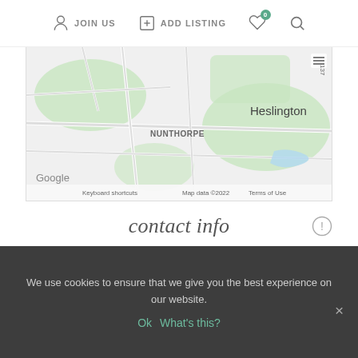JOIN US   ADD LISTING   0   Search
[Figure (map): Google Maps screenshot showing area around York including Nunthorpe and Heslington neighbourhoods with street map overlay. Map data ©2022. Keyboard shortcuts | Map data ©2022 | Terms of Use]
contact info
York
UK
07803 139 435
[Figure (other): Website icon (monitor) and Facebook icon]
We use cookies to ensure that we give you the best experience on our website.
Ok   What's this?